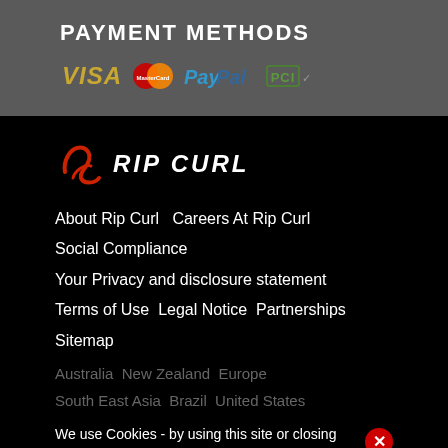PAYMENT METHODS
[Figure (logo): Payment method logos: Visa, MasterCard, PayPal, PCI]
[Figure (logo): Rip Curl brand logo with red wave icon and white italic text RIP CURL]
About Rip Curl    Careers At Rip Curl
Social Compliance
Your Privacy and disclosure statement
Terms of Use    Legal Notice    Partnerships
Sitemap
Australia    New Zealand    Europe    South East Asia    Brazil    United States
We use Cookies - by using this site or closing this message you're agreeing to our Cookies policy